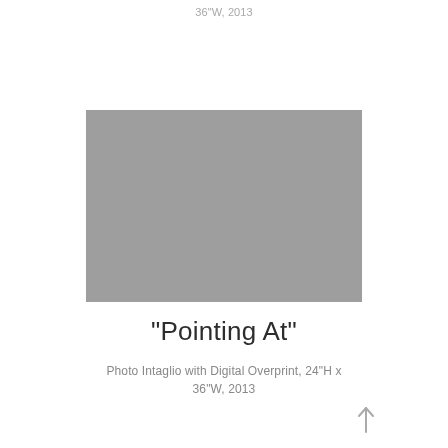36"W, 2013
[Figure (photo): Gray rectangular placeholder image representing an artwork]
"Pointing At"
Photo Intaglio with Digital Overprint, 24"H x 36"W, 2013